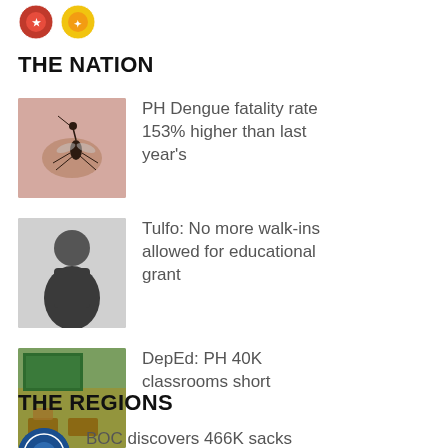[Figure (logo): Two small circular logo icons at top left]
THE NATION
[Figure (photo): Close-up photo of a mosquito on skin]
PH Dengue fatality rate 153% higher than last year's
[Figure (photo): Photo of a man in dark jacket]
Tulfo: No more walk-ins allowed for educational grant
[Figure (photo): Photo of a classroom interior]
DepEd: PH 40K classrooms short
THE REGIONS
[Figure (logo): Circular seal/logo icon]
BOC discovers 466K sacks of allegedly